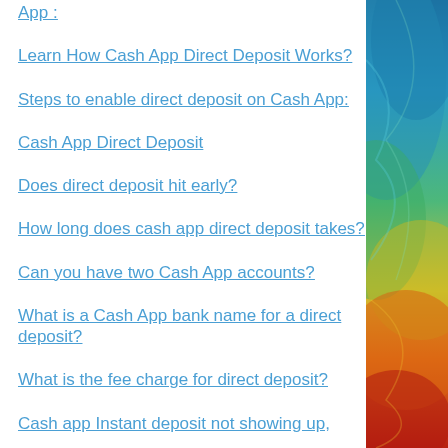App :
Learn How Cash App Direct Deposit Works?
Steps to enable direct deposit on Cash App:
Cash App Direct Deposit
Does direct deposit hit early?
How long does cash app direct deposit takes?
Can you have two Cash App accounts?
What is a Cash App bank name for a direct deposit?
What is the fee charge for direct deposit?
Cash app Instant deposit not showing up,
[Figure (photo): Colorful abstract swirl photo with teal, blue, green, yellow, orange, and red tones on the right side of the page]